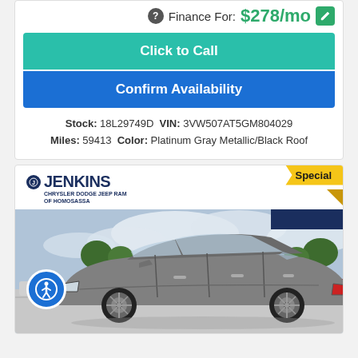Finance For: $278/mo
Click to Call
Confirm Availability
Stock: 18L29749D VIN: 3VW507AT5GM804029 Miles: 59413 Color: Platinum Gray Metallic/Black Roof
[Figure (photo): Gray SUV (Volkswagen) parked in a dealership lot with cloudy sky background. Jenkins Chrysler Dodge Jeep Ram of Homosassa dealer logo in top left. Special badge in top right corner.]